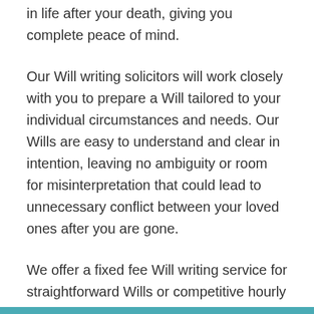in life after your death, giving you complete peace of mind.
Our Will writing solicitors will work closely with you to prepare a Will tailored to your individual circumstances and needs. Our Wills are easy to understand and clear in intention, leaving no ambiguity or room for misinterpretation that could lead to unnecessary conflict between your loved ones after you are gone.
We offer a fixed fee Will writing service for straightforward Wills or competitive hourly rates for more complex work. All billable work will be agreed in advance, so you stay in complete control